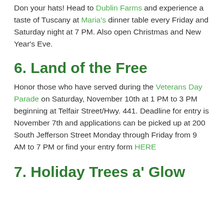Don your hats!  Head to Dublin Farms and experience a taste of Tuscany at Maria's dinner table every Friday and Saturday night at 7 PM. Also open Christmas and New Year's Eve.
6. Land of the Free
Honor those who have served during the Veterans Day Parade on Saturday, November 10th at 1 PM to 3 PM beginning at Telfair Street/Hwy. 441.  Deadline for entry is November 7th and applications can be picked up at 200 South Jefferson Street Monday through Friday from 9 AM to 7 PM or find your entry form HERE
7.  Holiday Trees a' Glow